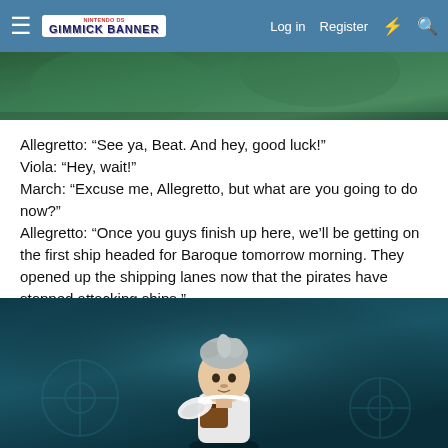GimmickBanner — Log in  Register
[Figure (screenshot): Top partial screenshot of a video game scene with green/teal environment]
Allegretto: “See ya, Beat. And hey, good luck!”
Viola: “Hey, wait!”
March: “Excuse me, Allegretto, but what are you going to do now?”
Allegretto: “Once you guys finish up here, we’ll be getting on the first ship headed for Baroque tomorrow morning. They opened up the shipping lanes now that the pirates have stopped attacking ships.”
[Figure (screenshot): Screenshot of a video game character — a young boy with gray hair and small white wings, standing in a teal/dark church-like environment.]